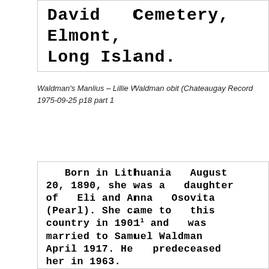[Figure (other): Scanned newspaper text reading: David Cemetery, Elmont, Long Island.]
Waldman's Manlius – Lillie Waldman obit (Chateaugay Record 1975-09-25 p18 part 1
[Figure (other): Scanned newspaper text reading: Born in Lithuania August 20, 1890, she was a daughter of Eli and Anna Osovita (Pearl). She came to this country in 1901 and was married to Samuel Waldman April 1917. He predeceased her in 1963. They moved to St. Regis Falls 1942...]